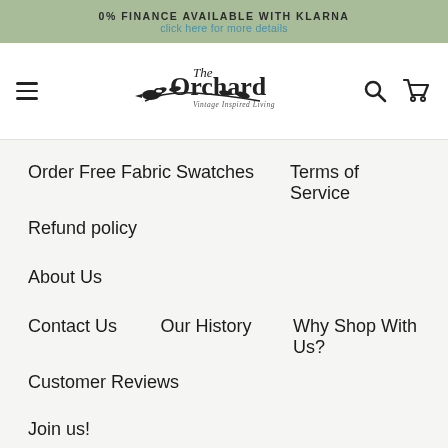0% FINANCE AVAILABLE WITH KLARNA
click here for more details
[Figure (logo): The Orchard Vintage Inspired Living logo with bird and branch, plus hamburger menu, search and cart icons]
Order Free Fabric Swatches
Terms of Service
Refund policy
About Us
Contact Us
Our History
Why Shop With Us?
Customer Reviews
Join us!
[Figure (illustration): Two circular social media icons — green Instagram icon and red Facebook icon — partially visible at bottom]